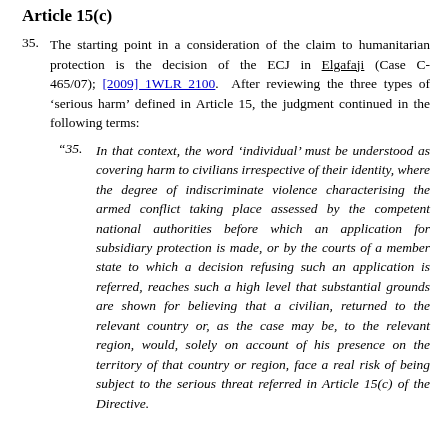Article 15(c)
35. The starting point in a consideration of the claim to humanitarian protection is the decision of the ECJ in Elgafaji (Case C-465/07); [2009] 1WLR 2100. After reviewing the three types of ‘serious harm’ defined in Article 15, the judgment continued in the following terms:
“35. In that context, the word ‘individual’ must be understood as covering harm to civilians irrespective of their identity, where the degree of indiscriminate violence characterising the armed conflict taking place assessed by the competent national authorities before which an application for subsidiary protection is made, or by the courts of a member state to which a decision refusing such an application is referred, reaches such a high level that substantial grounds are shown for believing that a civilian, returned to the relevant country or, as the case may be, to the relevant region, would, solely on account of his presence on the territory of that country or region, face a real risk of being subject to the serious threat referred in Article 15(c) of the Directive.